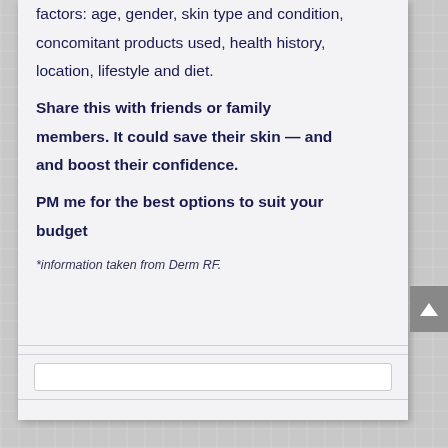factors: age, gender, skin type and condition, concomitant products used, health history, location, lifestyle and diet.
Share this with friends or family members. It could save their skin — and and boost their confidence.
PM me for the best options to suit your budget
*information taken from Derm RF.
Send Me a Message